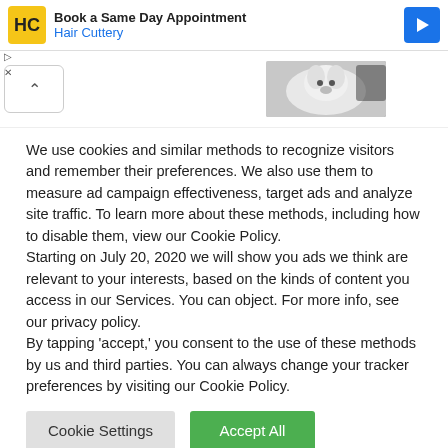[Figure (screenshot): Hair Cuttery advertisement banner with yellow logo, text 'Book a Same Day Appointment' and 'Hair Cuttery', and a blue arrow icon]
[Figure (photo): Partial view of a white fluffy dog, with an up-arrow button on the left side]
We use cookies and similar methods to recognize visitors and remember their preferences. We also use them to measure ad campaign effectiveness, target ads and analyze site traffic. To learn more about these methods, including how to disable them, view our Cookie Policy.
Starting on July 20, 2020 we will show you ads we think are relevant to your interests, based on the kinds of content you access in our Services. You can object. For more info, see our privacy policy.
By tapping 'accept,' you consent to the use of these methods by us and third parties. You can always change your tracker preferences by visiting our Cookie Policy.
Cookie Settings
Accept All